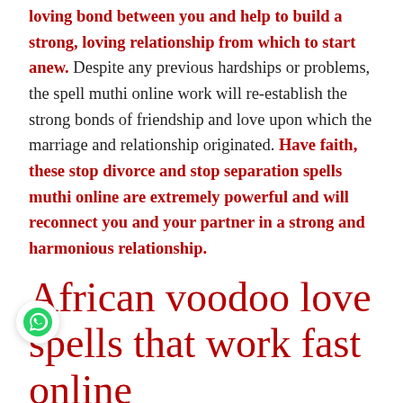loving bond between you and help to build a strong, loving relationship from which to start anew. Despite any previous hardships or problems, the spell muthi online work will re-establish the strong bonds of friendship and love upon which the marriage and relationship originated. Have faith, these stop divorce and stop separation spells muthi online are extremely powerful and will reconnect you and your partner in a strong and harmonious relationship.
African voodoo love spells that work fast online
African voodoo love spell that work fast online , blazing love spells free love spells that work overnight without ingredients. African voodoo love spells work